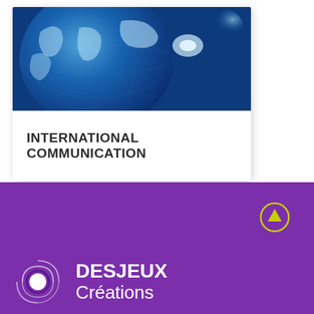[Figure (photo): Blue world globe illustration used as card header image]
INTERNATIONAL COMMUNICATION
[Figure (logo): Desjeux Créations company logo with circular icon and white text on purple background]